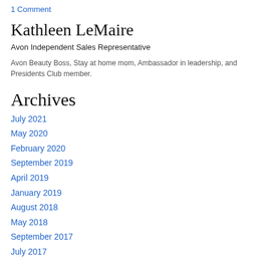1 Comment
Kathleen LeMaire
Avon Independent Sales Representative
Avon Beauty Boss, Stay at home mom, Ambassador in leadership, and Presidents Club member.
Archives
July 2021
May 2020
February 2020
September 2019
April 2019
January 2019
August 2018
May 2018
September 2017
July 2017
Categories
All
1996